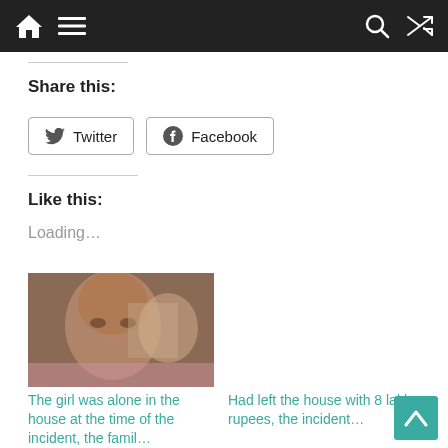Navigation bar with home, menu, search, and shuffle icons
Share this:
Twitter  Facebook
Like this:
Loading...
[Figure (photo): Blurred photo of a young girl's face]
The girl was alone in the house at the time of the incident, the famil...
Had left the house with 8 lakh rupees, the incident...